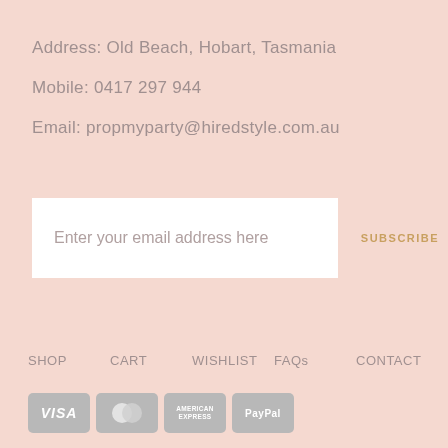Address: Old Beach, Hobart, Tasmania
Mobile: 0417 297 944
Email: propmyparty@hiredstyle.com.au
Enter your email address here
SUBSCRIBE
SHOP
CART
WISHLIST
FAQs
CONTACT
[Figure (illustration): Payment method icons: VISA, Mastercard, American Express, PayPal]